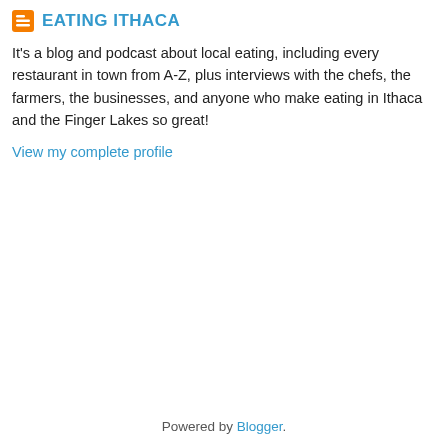EATING ITHACA
It's a blog and podcast about local eating, including every restaurant in town from A-Z, plus interviews with the chefs, the farmers, the businesses, and anyone who make eating in Ithaca and the Finger Lakes so great!
View my complete profile
Powered by Blogger.